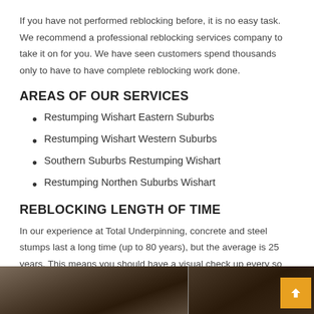If you have not performed reblocking before, it is no easy task. We recommend a professional reblocking services company to take it on for you. We have seen customers spend thousands only to have to have complete reblocking work done.
AREAS OF OUR SERVICES
Restumping Wishart Eastern Suburbs
Restumping Wishart Western Suburbs
Southern Suburbs Restumping Wishart
Restumping Northen Suburbs Wishart
REBLOCKING LENGTH OF TIME
In our experience at Total Underpinning, concrete and steel stumps last a long time (up to 80 years), but the average is 25 years. This means you should have a visual check up every so often, or ask a professional reblocking team to do it for you.
[Figure (photo): Two photographs side by side showing ground-level construction or stumping work — soil, rocks, and structural elements visible.]